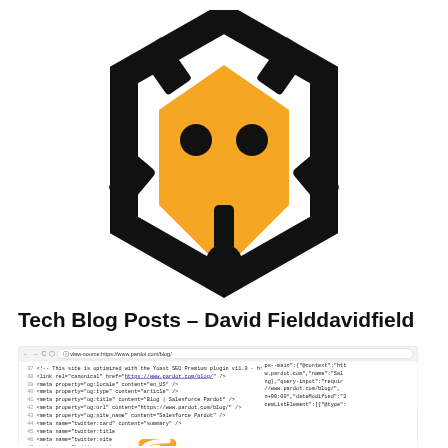[Figure (logo): Pardot/Salesforce dog logo: orange dog head shape with black outline hexagon frame, two black dot eyes, black ears/legs, black nose circle at bottom]
Tech Blog Posts – David Fielddavidfield
[Figure (screenshot): Browser screenshot showing view-source of https://www.pardot.com/blog/ with HTML meta tags visible, overlaid with RSS feed icon and RSS text label, and a scroll-to-top button]